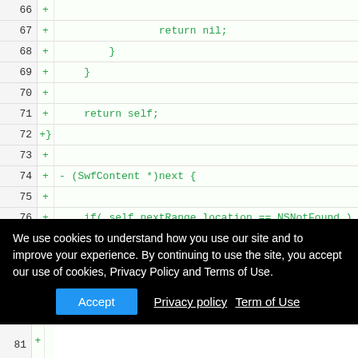| line | diff | code |
| --- | --- | --- |
| 66 | + |  |
| 67 | + |                 return nil; |
| 68 | + |         } |
| 69 | + |     } |
| 70 | + |  |
| 71 | + |     return self; |
| 72 | +} |  |
| 73 | + |  |
| 74 | + | - (SwfContent *)next { |
| 75 | + |  |
| 76 | + |     if( self.nextRange.location == NSNotFound ) { |
| 77 | + |  |
| 78 | + |         return nil; |
| 79 | + |     } |
We use cookies to understand how you use our site and to improve your experience. By continuing to use the site, you accept our use of cookies, Privacy Policy and Terms of Use.
Accept  Privacy policy  Term of Use